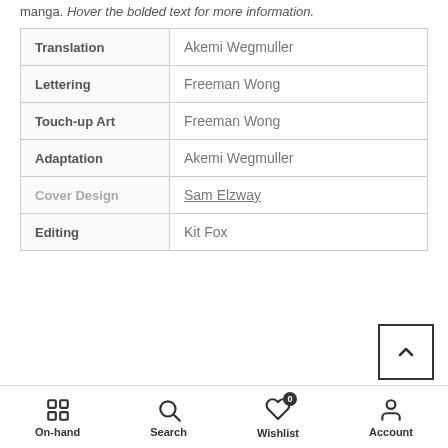manga. Hover the bolded text for more information.
| Role | Name |
| --- | --- |
| Translation | Akemi Wegmuller |
| Lettering | Freeman Wong |
| Touch-up Art | Freeman Wong |
| Adaptation | Akemi Wegmuller |
| Cover Design | Sam Elzway |
| Editing | Kit Fox |
On-hand  Search  Wishlist  Account